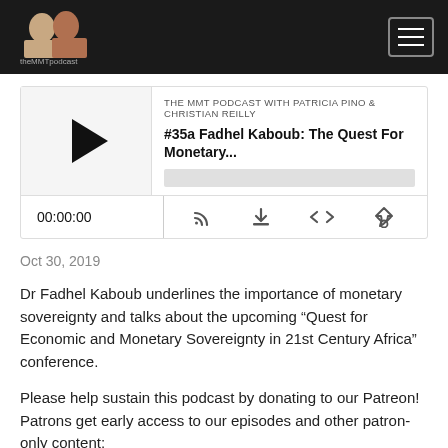[Figure (screenshot): MMT Podcast logo with two women in header nav bar, and hamburger menu icon on the right]
[Figure (screenshot): Podcast audio player with play button, episode title '#35a Fadhel Kaboub: The Quest For Monetary...', progress bar, time display 00:00:00, and control icons]
Oct 30, 2019
Dr Fadhel Kaboub underlines the importance of monetary sovereignty and talks about the upcoming “Quest for Economic and Monetary Sovereignty in 21st Century Africa” conference.
Please help sustain this podcast by donating to our Patreon! Patrons get early access to our episodes and other patron-only content:
Read More